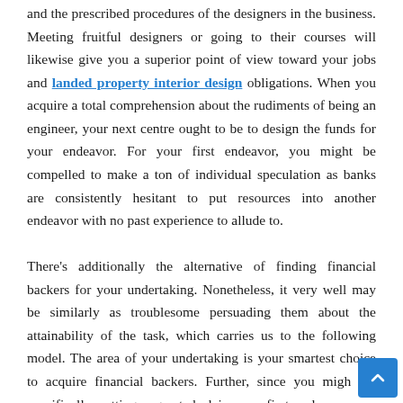and the prescribed procedures of the designers in the business. Meeting fruitful designers or going to their courses will likewise give you a superior point of view toward your jobs and landed property interior design obligations. When you acquire a total comprehension about the rudiments of being an engineer, your next centre ought to be to design the funds for your endeavor. For your first endeavor, you might be compelled to make a ton of individual speculation as banks are consistently hesitant to put resources into another endeavor with no past experience to allude to.

There's additionally the alternative of finding financial backers for your undertaking. Nonetheless, it very well may be similarly as troublesome persuading them about the attainability of the task, which carries us to the following model. The area of your undertaking is your smartest choice to acquire financial backers. Further, since you might be specifically putting a great deal in your first endeavor, you must be sure beyond a shadow of a doubt that your